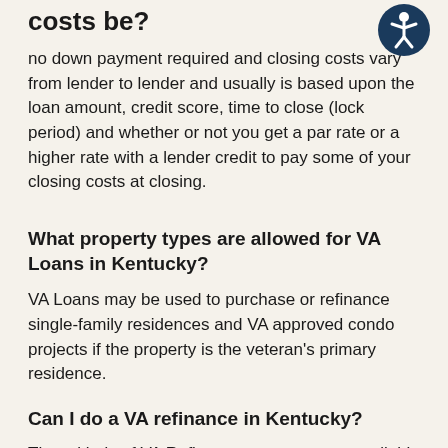costs be?
[Figure (illustration): Accessibility icon: dark blue circle with white stick figure person with arms outstretched]
no down payment required and closing costs vary from lender to lender and usually is based upon the loan amount, credit score, time to close (lock period) and whether or not you get a par rate or a higher rate with a lender credit to pay some of your closing costs at closing.
What property types are allowed for VA Loans in Kentucky?
VA Loans may be used to purchase or refinance single-family residences and VA approved condo projects if the property is the veteran's primary residence.
Can I do a VA refinance in Kentucky?
Three kinds of VA Refinance programs are available for veterans in Kentucky.